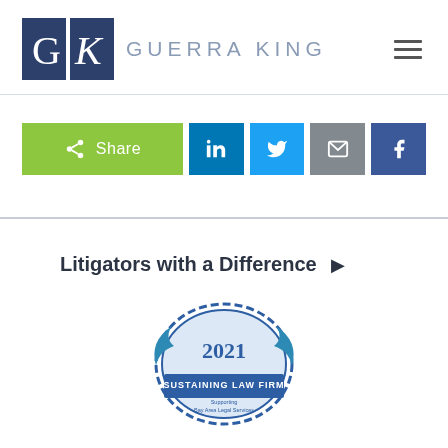[Figure (logo): Guerra King law firm logo: GK monogram in navy blue squares and firm name in gray]
[Figure (infographic): Social share bar with Share button in green, LinkedIn in blue, Twitter in light blue, Email in gray, Facebook in dark blue]
Litigators with a Difference
[Figure (logo): 2021 Sustaining Law Firm badge/seal in blue with gear design]